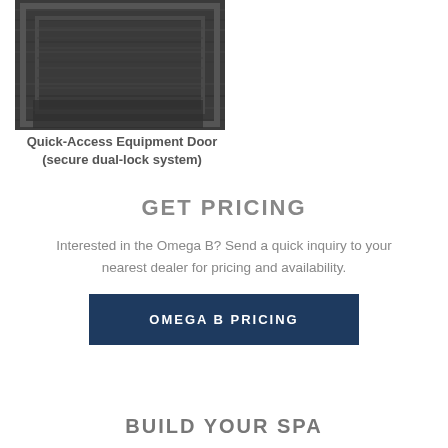[Figure (photo): Close-up photo of a dark wood-grain textured Quick-Access Equipment Door with a secure dual-lock system.]
Quick-Access Equipment Door (secure dual-lock system)
GET PRICING
Interested in the Omega B? Send a quick inquiry to your nearest dealer for pricing and availability.
OMEGA B PRICING
BUILD YOUR SPA